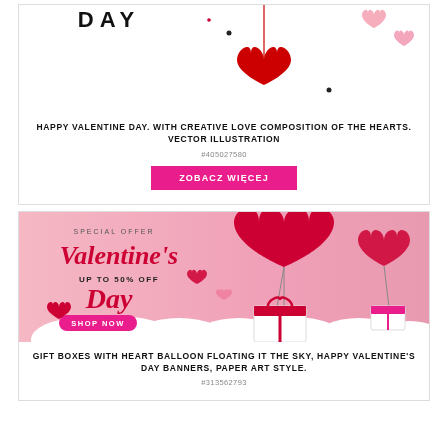[Figure (illustration): Valentine's Day graphic with decorative text 'DAY' and hanging red hearts on white background (top portion visible)]
HAPPY VALENTINE DAY. WITH CREATIVE LOVE COMPOSITION OF THE HEARTS. VECTOR ILLUSTRATION
#405027580
ZOBACZ WIĘCEJ
[Figure (illustration): Valentine's Day special offer banner with pink background, script text 'Valentine's Day UP TO 50% OFF', heart-shaped balloons, gift boxes floating in sky, paper art style, 'SHOP NOW' button]
GIFT BOXES WITH HEART BALLOON FLOATING IT THE SKY, HAPPY VALENTINE'S DAY BANNERS, PAPER ART STYLE.
#313562793